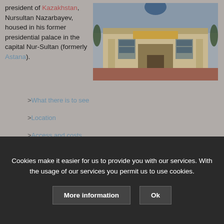president of Kazakhstan, Nursultan Nazarbayev, housed in his former presidential palace in the capital Nur-Sultan (formerly Astana).
[Figure (photo): Exterior photo of a government building (presidential palace) in Nur-Sultan (Astana), Kazakhstan. The building has a large facade with columns, a blue dome visible at the top, and is surrounded by trees and a plaza with reddish pavement.]
>What there is to see
>Location
>Access and costs
Cookies make it easier for us to provide you with our services. With the usage of our services you permit us to use cookies.
More information  Ok